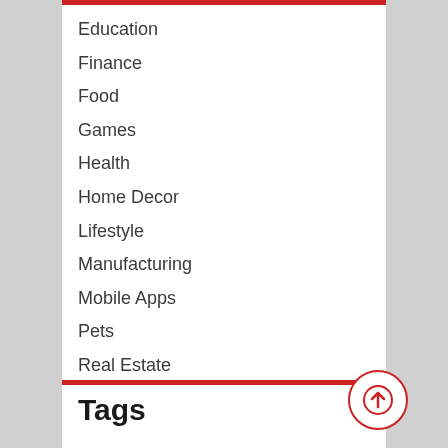Education
Finance
Food
Games
Health
Home Decor
Lifestyle
Manufacturing
Mobile Apps
Pets
Real Estate
Technology
Travel
Web Development
Tags